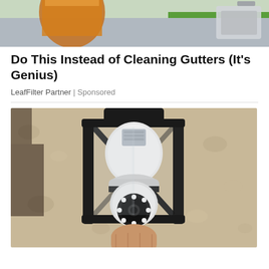[Figure (photo): Top banner image showing an orange/amber drink glass and outdoor scene with green lawn in background]
Do This Instead of Cleaning Gutters (It's Genius)
LeafFilter Partner | Sponsored
[Figure (photo): A security camera shaped like a light bulb being installed into an outdoor black lantern-style light fixture mounted on a textured stucco wall]